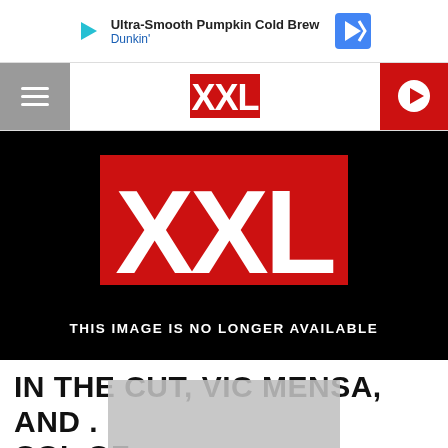[Figure (screenshot): Advertisement banner for Dunkin with play icon on left and navigation arrow on right. Text reads 'Ultra-Smooth Pumpkin Cold Brew' and 'Dunkin']
XXL navigation bar with hamburger menu on left, XXL logo in center, and red play button on right
[Figure (logo): XXL magazine logo on red background with text 'THIS IMAGE IS NO LONGER AVAILABLE' below on black background]
IN THE CUT, VIC MENSA, AND ... COL ... OF